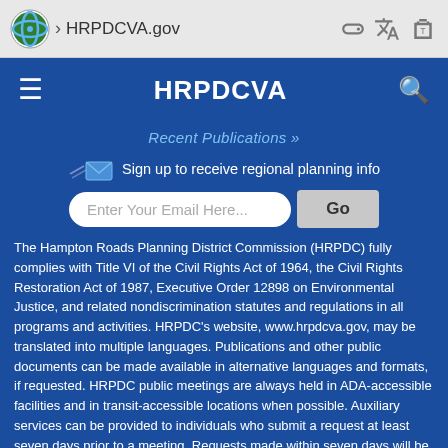HRPDCVA.gov
HRPDCVA
Recent Publications »
Sign up to receive regional planning info
The Hampton Roads Planning District Commission (HRPDC) fully complies with Title VI of the Civil Rights Act of 1964, the Civil Rights Restoration Act of 1987, Executive Order 12898 on Environmental Justice, and related nondiscrimination statutes and regulations in all programs and activities. HRPDC's website, www.hrpdcva.gov, may be translated into multiple languages. Publications and other public documents can be made available in alternative languages and formats, if requested. HRPDC public meetings are always held in ADA-accessible facilities and in transit-accessible locations when possible. Auxiliary services can be provided to individuals who submit a request at least seven days prior to a meeting. Requests made within seven days will be accommodated to the greatest extent possible. Any person who believes they have been aggrieved by an unlawful discriminatory practice by HRPDC under Title VI has a right to file a formal complaint. Any such complaint may be in writing and filed with